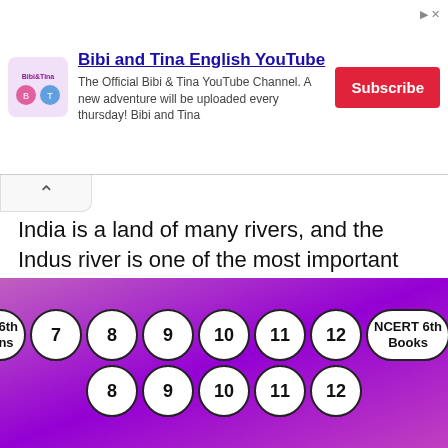[Figure (screenshot): Advertisement banner for Bibi and Tina English YouTube channel with logo, description text, and Subscribe button]
India is a land of many rivers, and the Indus river is one of the most important rivers of the Indian Subcontinent. The Indus river originates in the Tibetan Plateau and flows through countries like India, China and Pakistan. The Course of flow of the river ends in the Arabian sea.
The River Indus is considered as the largest river in the world in terms of water flow. The
[Figure (infographic): Bottom navigation bar with circled numbers 7-12 and NCERT 6th Solutions and NCERT 6th Books labels on a purple gradient background]